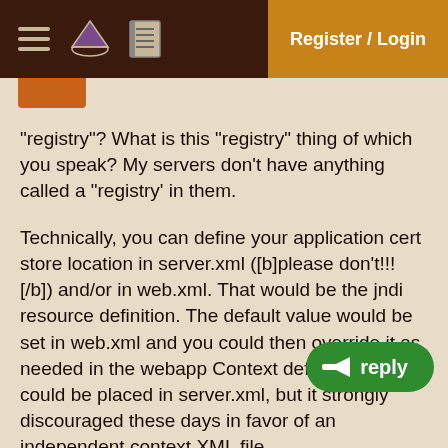Register / Login
"registry"? What is this "registry" thing of which you speak? My servers don't have anything called a "registry' in them.
Technically, you can define your application cert store location in server.xml ([b]please don't!!![/b]) and/or in web.xml. That would be the jndi resource definition. The default value would be set in web.xml and you could then override it as needed in the webapp Context definition. Which could be placed in server.xml, but it strongly discouraged these days in favor of an independent context XML file.
However, Tomcat itself neither knows nor cares what sort of silly outbound server requests any of its webapps makes, whether HTTP, FTP, LDAP, JMS or whatever. So it's up to the webapp itself to set up the environment for its own specialized configuration. JNDI can help, but it will require application logic to take the